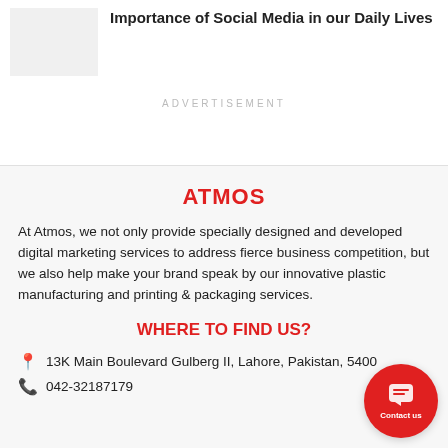[Figure (photo): Small thumbnail image placeholder (light gray box)]
Importance of Social Media in our Daily Lives
ADVERTISEMENT
ATMOS
At Atmos, we not only provide specially designed and developed digital marketing services to address fierce business competition, but we also help make your brand speak by our innovative plastic manufacturing and printing & packaging services.
WHERE TO FIND US?
13K Main Boulevard Gulberg II, Lahore, Pakistan, 5400
042-32187179